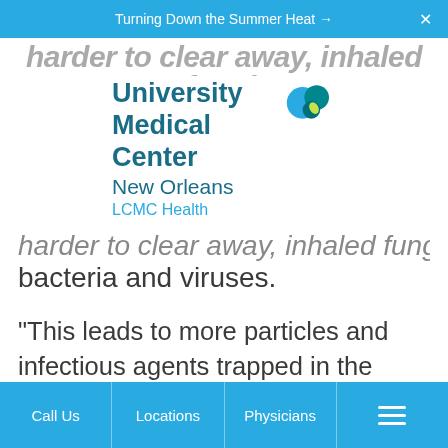Turning Down the Summer Heat →
[Figure (logo): University Medical Center New Orleans LCMC Health logo with teal heart icon]
harder to clear away, inhaled fungi, bacteria and viruses.
"This leads to more particles and infectious agents trapped in the lungs and more difficulty in clearing out this material," wrote Steliga, who practices at
Call Us   Locations   Physicians   [menu]